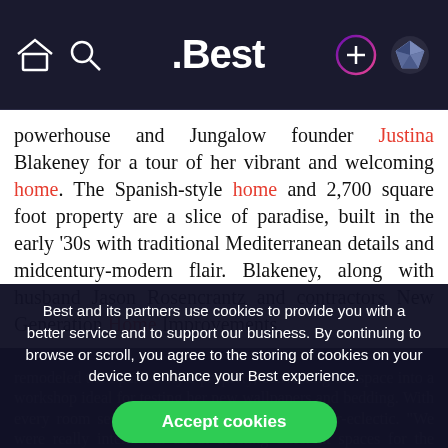.Best
powerhouse and Jungalow founder Justina Blakeney for a tour of her vibrant and welcoming home. The Spanish-style home and 2,700 square foot property are a slice of paradise, built in the early '30s with traditional Mediterranean details and midcentury-modern flair. Blakeney, along with husband Jason Rosencrantz and contractors New Generation Home Improvements,
Best and its partners use cookies to provide you with a better service and to support our business. By continuing to browse or scroll, you agree to the storing of cookies on your device to enhance your Best experience.
Accept cookies
Only essentials
Learn more about our privacy policy.